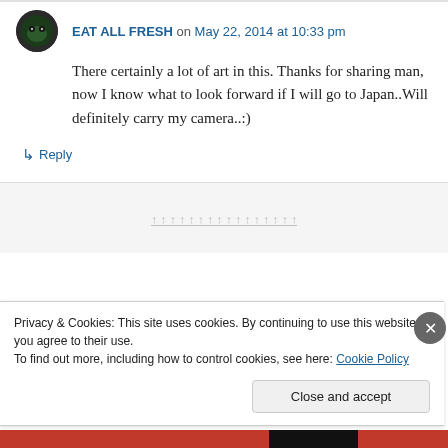EAT ALL FRESH on May 22, 2014 at 10:33 pm
There certainly a lot of art in this. Thanks for sharing man, now I know what to look forward if I will go to Japan..Will definitely carry my camera..:)
↳ Reply
Privacy & Cookies: This site uses cookies. By continuing to use this website, you agree to their use.
To find out more, including how to control cookies, see here: Cookie Policy
Close and accept